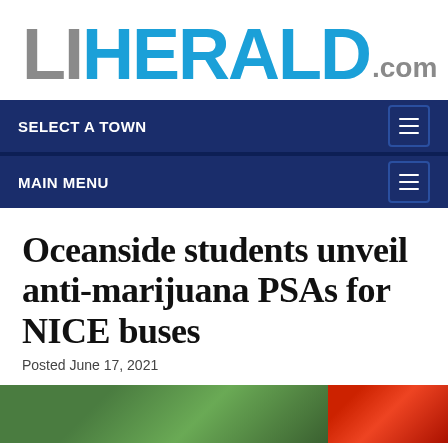[Figure (logo): LI Herald .com logo — LI in gray, HERALD in blue, .com in gray]
SELECT A TOWN
MAIN MENU
Oceanside students unveil anti-marijuana PSAs for NICE buses
Posted June 17, 2021
[Figure (photo): Partial bottom strip showing two photos — green foliage on left, red background on right]